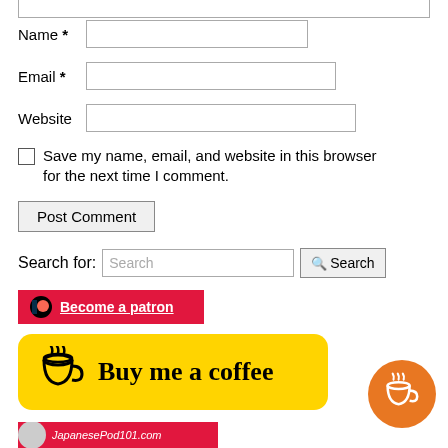Name *
Email *
Website
Save my name, email, and website in this browser for the next time I comment.
Post Comment
Search for:
[Figure (other): Patreon button: red background with Patreon circle icon and 'Become a patron' link]
[Figure (other): Yellow 'Buy me a coffee' button with coffee cup icon and handwritten-style text]
[Figure (other): Orange circle floating button with coffee cup icon]
[Figure (other): JapanesePod101.com red banner partial with avatar]